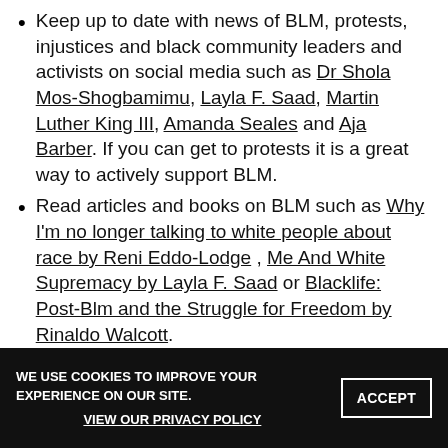Keep up to date with news of BLM, protests, injustices and black community leaders and activists on social media such as Dr Shola Mos-Shogbamimu, Layla F. Saad, Martin Luther King III, Amanda Seales and Aja Barber. If you can get to protests it is a great way to actively support BLM.
Read articles and books on BLM such as Why I'm no longer talking to white people about race by Reni Eddo-Lodge , Me And White Supremacy by Layla F. Saad or Blacklife: Post-Blm and the Struggle for Freedom by Rinaldo Walcott.
Watch and share videos, movies and podcasts. Netflix has a BLM section some great options are 'Dear white people', 'The innocent files', '13th and Oprah Winfrey presents: When They See Us Now'.
Donate and support black-led organisations such
WE USE COOKIES TO IMPROVE YOUR EXPERIENCE ON OUR SITE. VIEW OUR PRIVACY POLICY